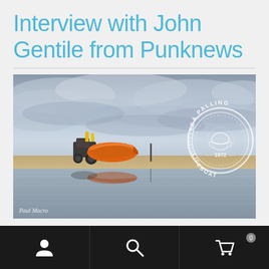Interview with John Gentile from Punknews
[Figure (photo): Orange lifeboat on a tractor on a beach with reflections in water, overcast sky with clouds. Sea Palling Independent Lifeboat circular logo/stamp visible. Photo credit: Paul Macro.]
Navigation bar with user icon, search icon, and shopping cart icon (badge: 0)